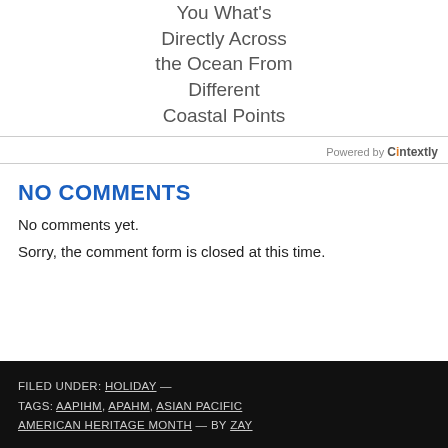You What's Directly Across the Ocean From Different Coastal Points
Powered by Contextly
NO COMMENTS
No comments yet.
Sorry, the comment form is closed at this time.
FILED UNDER: HOLIDAY — TAGS: AAPIHM, APAHM, ASIAN PACIFIC AMERICAN HERITAGE MONTH — BY ZAY